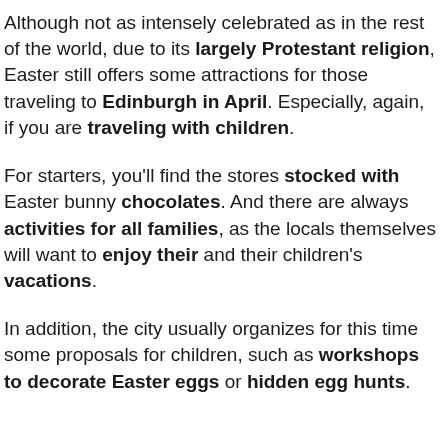Although not as intensely celebrated as in the rest of the world, due to its largely Protestant religion, Easter still offers some attractions for those traveling to Edinburgh in April. Especially, again, if you are traveling with children.
For starters, you'll find the stores stocked with Easter bunny chocolates. And there are always activities for all families, as the locals themselves will want to enjoy their and their children's vacations.
In addition, the city usually organizes for this time some proposals for children, such as workshops to decorate Easter eggs or hidden egg hunts.